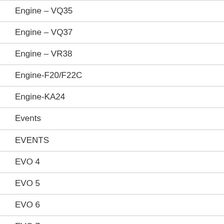Engine – VQ35
Engine – VQ37
Engine – VR38
Engine-F20/F22C
Engine-KA24
Events
EVENTS
EVO 4
EVO 5
EVO 6
EVO 7